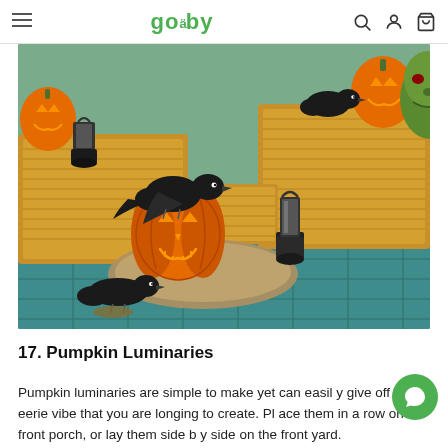goseby [search] [account] [cart]
[Figure (photo): Halloween decoration scene featuring a jack-o-lantern pumpkin with a black crow perched on top, hay bales, a vintage lantern, another black crow on the ground, and decorative pumpkins and a green witch face mask in the background on a blue tiled surface.]
17. Pumpkin Luminaries
Pumpkin luminaries are simple to make yet can easily give off the eerie vibe that you are longing to create. Place them in a row on the front porch, or lay them side by side on the front yard.